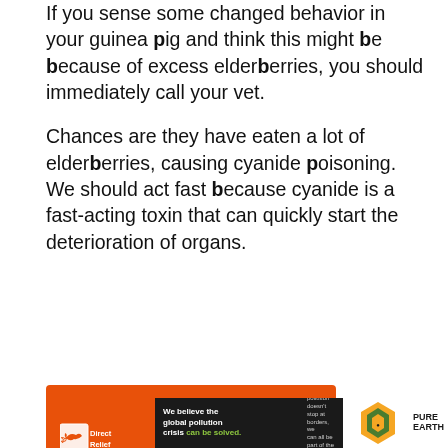If you sense some changed behavior in your guinea pig and think this might be because of excess elderberries, you should immediately call your vet.
Chances are they have eaten a lot of elderberries, causing cyanide poisoning. We should act fast because cyanide is a fast-acting toxin that can quickly start the deterioration of organs.
[Figure (other): Orange advertisement banner for Direct Relief: 'Help send medical aid to Ukraine >>' with Direct Relief logo on orange background]
[Figure (other): Advertisement for Pure Earth on dark background: 'We believe the global pollution crisis can be solved.' with Pure Earth logo]